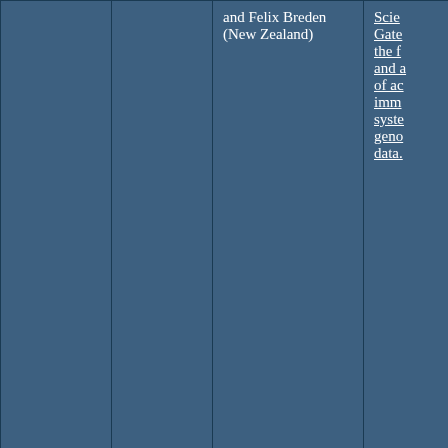|  |  | and Felix Breden (New Zealand) | Scie Gate the f and a of ac imm syste geno data. |
|  |  | Andrew Lonie | Omi Serv Platf Supp bacto path mult anal |
|  |  | Natalie Meyers | Scali Oper Fran |